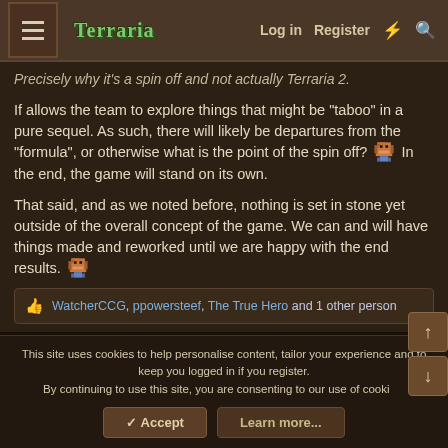Terraria forum navigation bar with Log in, Register, and search links
Precisely why it's a spin off and not actually Terraria 2.
If allows the team to explore things that might be "taboo" in a pure sequel. As such, there will likely be departures from the "formula", or otherwise what is the point of the spin off? In the end, the game will stand on its own.
That said, and as we noted before, nothing is set in stone yet outside of the overall concept of the game. We can and will have things made and reworked until we are happy with the end results.
👍 WatcherCCG, ppowersteef, The True Hero and 1 other person
This site uses cookies to help personalise content, tailor your experience and to keep you logged in if you register.
By continuing to use this site, you are consenting to our use of cookies.
✓ Accept    Learn more...